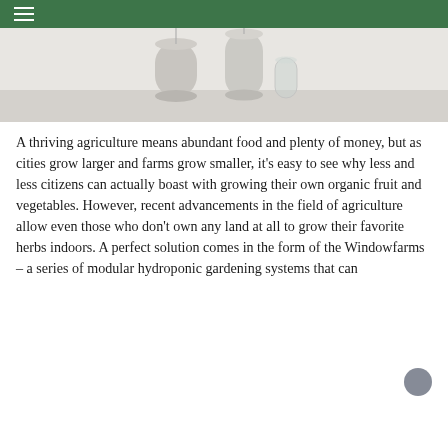[Figure (photo): Product photo showing white cylindrical hydroponic garden devices/pods on a light grey surface, with a dark green navigation bar at the top containing a hamburger menu icon]
A thriving agriculture means abundant food and plenty of money, but as cities grow larger and farms grow smaller, it's easy to see why less and less citizens can actually boast with growing their own organic fruit and vegetables. However, recent advancements in the field of agriculture allow even those who don't own any land at all to grow their favorite herbs indoors. A perfect solution comes in the form of the Windowfarms – a series of modular hydroponic gardening systems that can